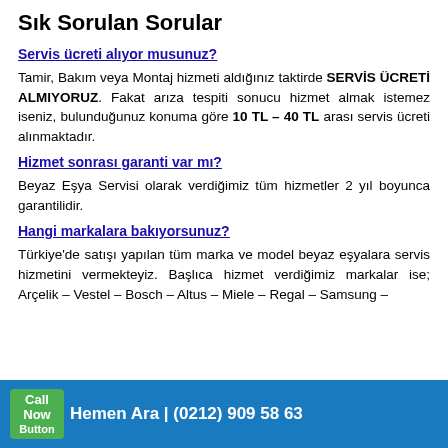Sık Sorulan Sorular
Servis ücreti alıyor musunuz?
Tamir, Bakım veya Montaj hizmeti aldığınız taktirde SERVİS ÜCRETİ ALMIYORUZ. Fakat arıza tespiti sonucu hizmet almak istemez iseniz, bulunduğunuz konuma göre 10 TL – 40 TL arası servis ücreti alınmaktadır.
Hizmet sonrası garanti var mı?
Beyaz Eşya Servisi olarak verdiğimiz tüm hizmetler 2 yıl boyunca garantilidir.
Hangi markalara bakıyorsunuz?
Türkiye'de satışı yapılan tüm marka ve model beyaz eşyalara servis hizmetini vermekteyiz. Başlıca hizmet verdiğimiz markalar ise; Arçelik – Vestel – Bosch – Altus – Miele – Regal – Samsung –
Call Now Button | Hemen Ara | (0212) 909 58 63